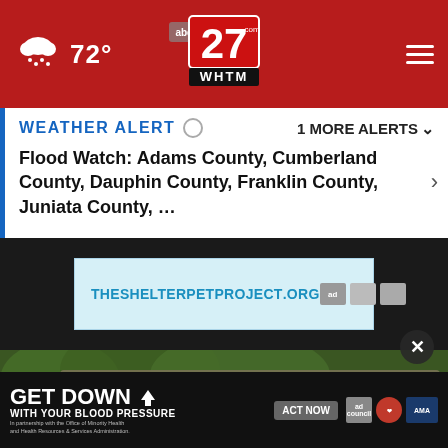72° | abc27 WHTM | menu
WEATHER ALERT  1 MORE ALERTS ∨
Flood Watch: Adams County, Cumberland County, Dauphin County, Franklin County, Juniata County, …
[Figure (screenshot): Ad banner for THESHELTERPETPROJECT.ORG on dark background]
[Figure (photo): Blurred video thumbnail showing a national park sign reading 'Great Smok...' (Great Smoky Mountains) with trees in background]
[Figure (screenshot): Bottom advertisement: GET DOWN WITH YOUR BLOOD PRESSURE - ACT NOW - ad council, American Heart Association, AMA logos]